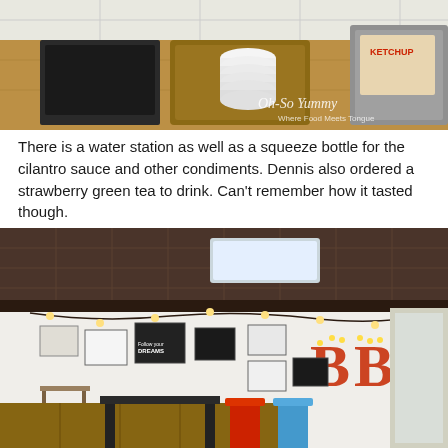[Figure (photo): Water station with stacked white cups on a wooden tray, a black tray, and a metal container with ketchup. Watermark reads 'Oh-So Yummy, Where Food Meets Tongue'.]
There is a water station as well as a squeeze bottle for the cilantro sauce and other condiments. Dennis also ordered a strawberry green tea to drink. Can't remember how it tasted though.
[Figure (photo): Interior of a restaurant with decorative ceiling tiles, string lights, framed wall art, a large marquee 'BB' letter sign, and colorful stools at tables with a wood-paneled wainscoting wall.]